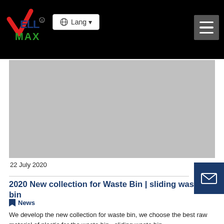[Figure (logo): WellMax logo with red checkmark and blue/green text on black navbar background]
[Figure (photo): Large gray placeholder image area for waste bin product photo]
22 July 2020
2020 New collection for Waste Bin | sliding waste bin
News
We develop the new collection for waste bin, we choose the best raw material of plastic for the waste bin.  sliding waste bin